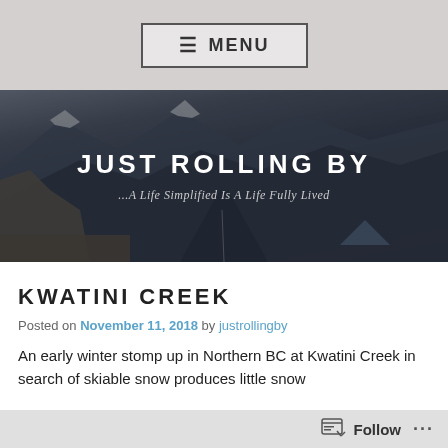≡ MENU
[Figure (photo): Hero banner showing a mountain road landscape with snow-capped peaks and a tent, overlaid with the blog title 'JUST ROLLING BY' and subtitle '...A Life Simplified Is A Life Fully Lived']
JUST ROLLING BY
...A Life Simplified Is A Life Fully Lived
KWATINI CREEK
Posted on November 11, 2018 by justrollingby
An early winter stomp up in Northern BC at Kwatini Creek in search of skiable snow produces little snow
Follow ...